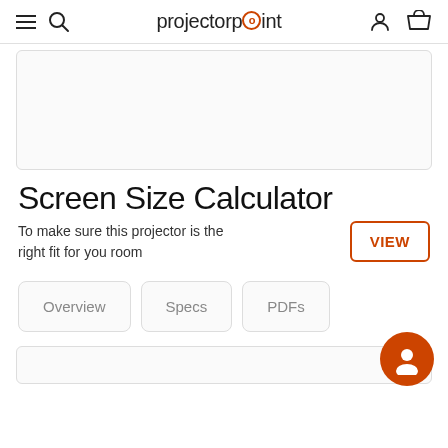projectorpoint
[Figure (photo): Product image placeholder area with light grey background and rounded border]
Screen Size Calculator
To make sure this projector is the right fit for you room
VIEW
Overview
Specs
PDFs
[Figure (other): Bottom content card placeholder area]